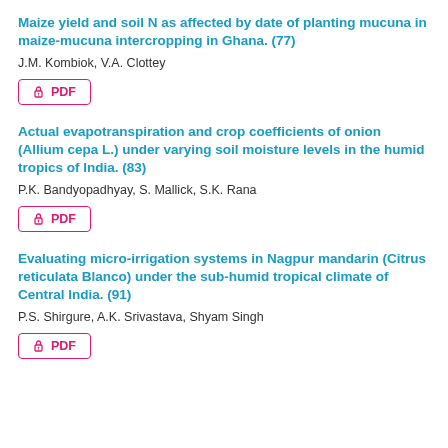Maize yield and soil N as affected by date of planting mucuna in maize-mucuna intercropping in Ghana. (77)
J.M. Kombiok, V.A. Clottey
[Figure (other): PDF button with lock icon, pink/red border]
Actual evapotranspiration and crop coefficients of onion (Allium cepa L.) under varying soil moisture levels in the humid tropics of India. (83)
P.K. Bandyopadhyay, S. Mallick, S.K. Rana
[Figure (other): PDF button with lock icon, pink/red border]
Evaluating micro-irrigation systems in Nagpur mandarin (Citrus reticulata Blanco) under the sub-humid tropical climate of Central India. (91)
P.S. Shirgure, A.K. Srivastava, Shyam Singh
[Figure (other): PDF button with lock icon, pink/red border]